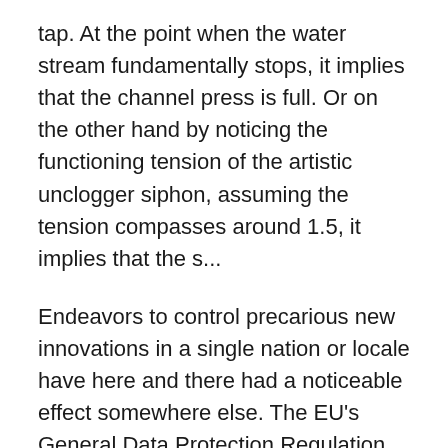tap. At the point when the water stream fundamentally stops, it implies that the channel press is full. Or on the other hand by noticing the functioning tension of the artistic unclogger siphon, assuming the tension compasses around 1.5, it implies that the s...
Endeavors to control precarious new innovations in a single nation or locale have here and there had a noticeable effect somewhere else. The EU's General Data Protection Regulation, which produced results in 2018 and limits organizations' utilization of private information, has affected organization arrangements around the world, and regulation somewhere else, remembering for California. The guidelines, known as the Internet Information Service Algorithmic Recommendation Management Provisions, were drafted by the Cyberspace Administration of China, a strong body that implements network protection, web control, and web based business rules. In addition to